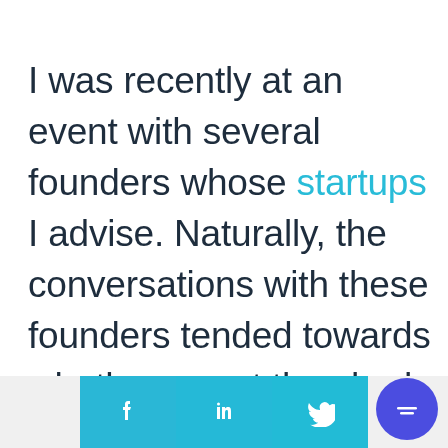I was recently at an event with several founders whose startups I advise. Naturally, the conversations with these founders tended towards whether or not they had been
[Figure (other): Social media sharing buttons: Facebook, LinkedIn, Twitter, plus a chat widget button]